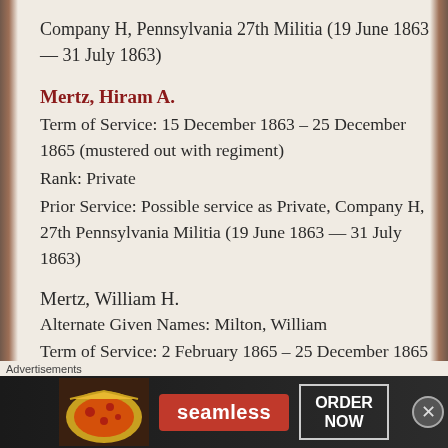Company H, Pennsylvania 27th Militia (19 June 1863 — 31 July 1863)
Mertz, Hiram A.
Term of Service: 15 December 1863 – 25 December 1865 (mustered out with regiment)
Rank: Private
Prior Service: Possible service as Private, Company H, 27th Pennsylvania Militia (19 June 1863 — 31 July 1863)
Mertz, William H.
Alternate Given Names: Milton, William
Term of Service: 2 February 1865 – 25 December 1865 (mustered in for one-year term; mustered out
[Figure (other): Seamless food delivery advertisement banner with pizza image, Seamless logo in red, and ORDER NOW button]